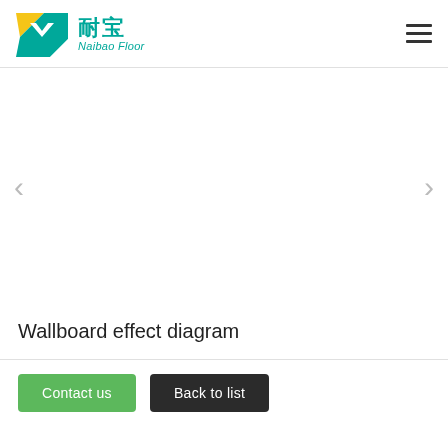[Figure (logo): Naibao Floor logo with green/yellow geometric mark and Chinese/English brand name]
[Figure (other): Hamburger menu icon (three horizontal lines) in top right corner]
[Figure (other): Carousel image area (blank/white) with left and right navigation arrows]
Wallboard effect diagram
Contact us
Back to list